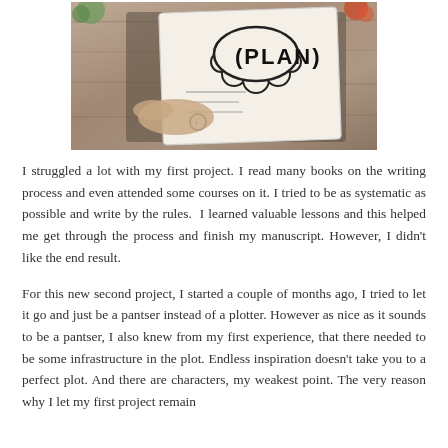[Figure (photo): A photograph of a person's hand writing in a notebook/planner that has 'PLAN' written in a thought-bubble style doodle, along with various other handwritten notes and diagrams, placed on a wooden surface with other items around it.]
I struggled a lot with my first project. I read many books on the writing process and even attended some courses on it. I tried to be as systematic as possible and write by the rules.  I learned valuable lessons and this helped me get through the process and finish my manuscript. However, I didn't like the end result.
For this new second project, I started a couple of months ago, I tried to let it go and just be a pantser instead of a plotter. However as nice as it sounds to be a pantser, I also knew from my first experience, that there needed to be some infrastructure in the plot. Endless inspiration doesn't take you to a perfect plot. And there are characters, my weakest point. The very reason why I let my first project remain